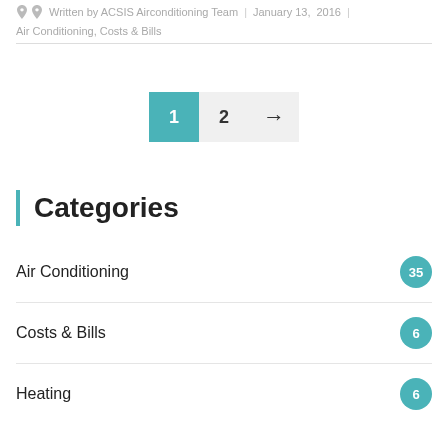Written by ACSIS Airconditioning Team  |  January 13, 2016  |  Air Conditioning, Costs & Bills
1  2  →
Categories
Air Conditioning  35
Costs & Bills  6
Heating  6